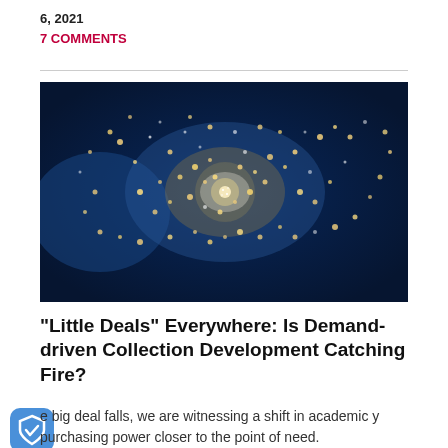6, 2021
7 COMMENTS
[Figure (photo): Astronomical image showing a cluster of glowing golden/orange light dots and stars scattered across a deep blue space background, with a bright central concentration of light.]
"Little Deals" Everywhere: Is Demand-driven Collection Development Catching Fire?
e big deal falls, we are witnessing a shift in academic y purchasing power closer to the point of need.